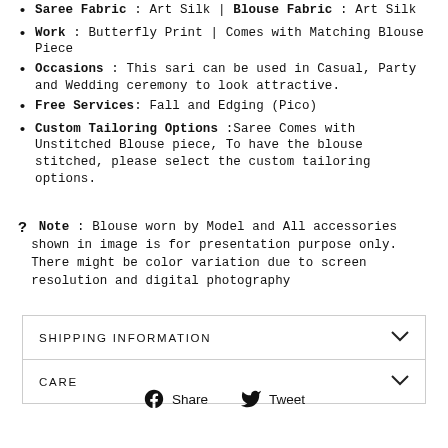Saree Fabric : Art Silk | Blouse Fabric : Art Silk
Work : Butterfly Print | Comes with Matching Blouse Piece
Occasions : This sari can be used in Casual, Party and Wedding ceremony to look attractive.
Free Services: Fall and Edging (Pico)
Custom Tailoring Options :Saree Comes with Unstitched Blouse piece, To have the blouse stitched, please select the custom tailoring options.
? Note : Blouse worn by Model and All accessories shown in image is for presentation purpose only. There might be color variation due to screen resolution and digital photography
SHIPPING INFORMATION
CARE
Share  Tweet